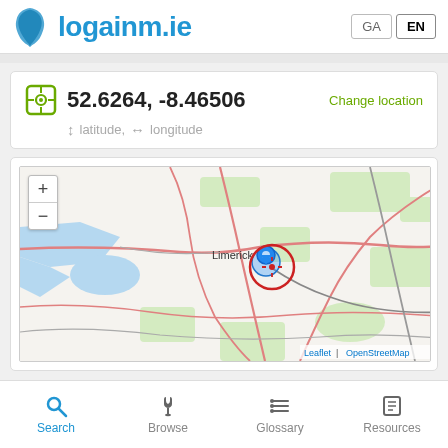logainm.ie
52.6264, -8.46506  Change location
↕ latitude,  ↔ longitude
[Figure (map): OpenStreetMap showing Limerick area in Ireland with a red circle marker and blue location pin near Limerick city center. Zoom controls (+/-) visible top left. Leaflet | OpenStreetMap attribution bottom right.]
Search  Browse  Glossary  Resources